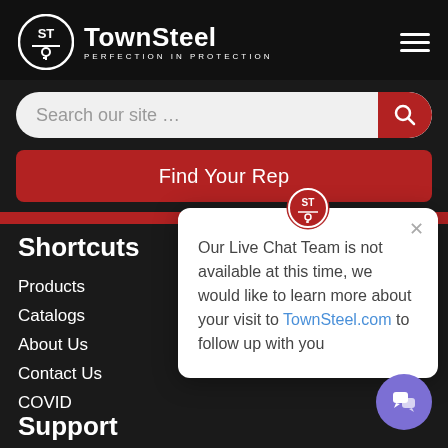[Figure (logo): TownSteel logo - circular icon with ST letters and a key, white on dark background, with tagline PERFECTION IN PROTECTION]
Search our site …
Find Your Rep
Shortcuts
Products
Catalogs
About Us
Contact Us
COVID
Our Live Chat Team is not available at this time, we would like to learn more about your visit to TownSteel.com to follow up with you
Support